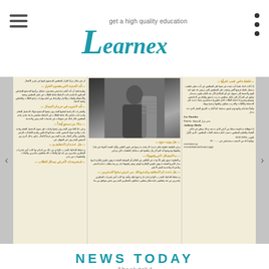Learnex — get a high quality education
[Figure (photo): Screenshot of a newspaper article page in Arabic with a central photo of a person, shown inside a carousel/slider UI element with navigation arrows on both sides]
NEWS TODAY
Absolutely!